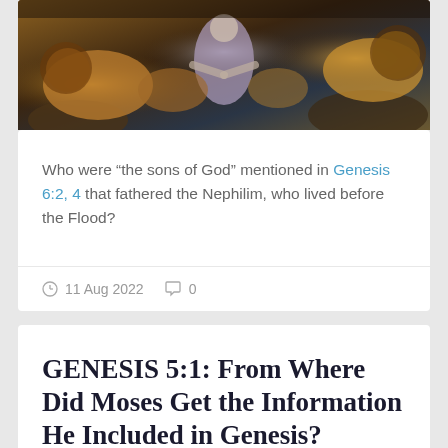[Figure (photo): Biblical illustration showing a man (possibly Daniel) surrounded by roaring lions and other animals, dramatic scene with rocks in background]
Who were “the sons of God” mentioned in Genesis 6:2, 4 that fathered the Nephilim, who lived before the Flood?
11 Aug 2022   0
GENESIS 5:1: From Where Did Moses Get the Information He Included in Genesis?
[Figure (photo): Partial biblical illustration at the bottom of the page]